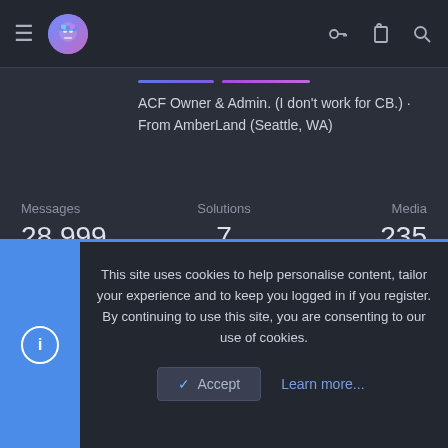Navigation bar with hamburger menu, logo, key icon, clipboard icon, search icon
ACF Owner & Admin. (I don't work for CB.) · From AmberLand (Seattle, WA)
| Messages | Solutions | Media | Reaction score | Points |
| --- | --- | --- | --- | --- |
| 28,999 | 7 | 235 | 121,661 | 0 |
Joined: Mar 1, 2010
This site uses cookies to help personalise content, tailor your experience and to keep you logged in if you register.
By continuing to use this site, you are consenting to our use of cookies.
Accept
Learn more...